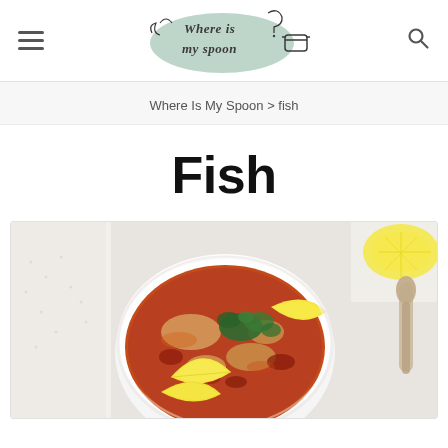[Figure (logo): Where Is My Spoon logo with mint green oval background and decorative script font, with a small pot icon]
Where Is My Spoon > fish
Fish
[Figure (photo): A white bowl of fish stew with lemon wedges and fresh parsley, viewed from above, with a spoon and napkin on a white background]